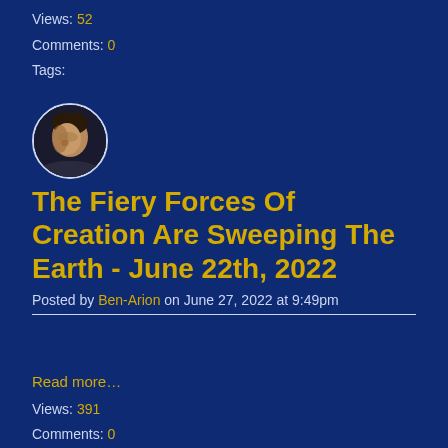Views: 52
Comments: 0
Tags:
[Figure (photo): Circular avatar photo of a young man looking downward, against a dark background]
The Fiery Forces Of Creation Are Sweeping The Earth - June 22th, 2022
Posted by Ben-Arion on June 27, 2022 at 9:49pm
Read more…
Views: 391
Comments: 0
Tags: